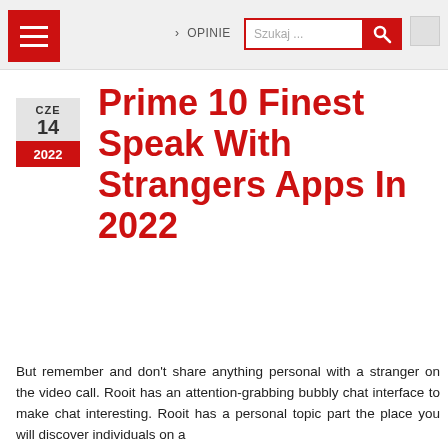› OPINIE  Szukaj ...
Prime 10 Finest Speak With Strangers Apps In 2022
But remember and don't share anything personal with a stranger on the video call. Rooit has an attention-grabbing bubbly chat interface to make chat interesting. Rooit has a personal topic part the place you will discover individuals on a